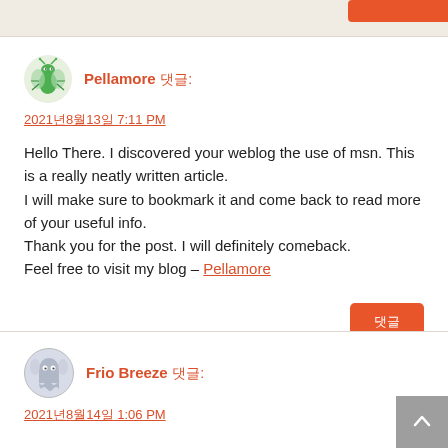[Figure (other): Orange button partially visible at top right]
[Figure (illustration): Green bug/insect avatar for user Pellamore]
Pellamore 댓글:
2021년8월13일 7:11 PM
Hello There. I discovered your weblog the use of msn. This is a really neatly written article.
I will make sure to bookmark it and come back to read more of your useful info.
Thank you for the post. I will definitely comeback.
Feel free to visit my blog – Pellamore
[Figure (other): Orange reply button with Korean text]
[Figure (illustration): Grey ghost/monster avatar for user Frio Breeze]
Frio Breeze 댓글:
2021년8월14일 1:06 PM
[Figure (other): Grey back-to-top button with up arrow]